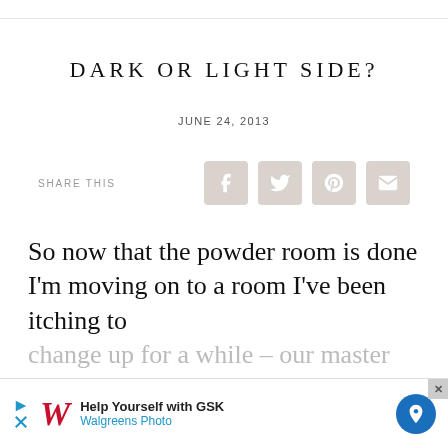DARK OR LIGHT SIDE?
JUNE 24, 2013
SHARE THIS
[Figure (infographic): Share icons for Facebook, Twitter, Pinterest, and Email in rounded square beige/taupe buttons]
So now that the powder room is done I'm moving on to a room I've been itching to change up for a while – our master bedro...lier
[Figure (infographic): Walgreens advertisement banner: Help Yourself with GSK, Walgreens Photo]